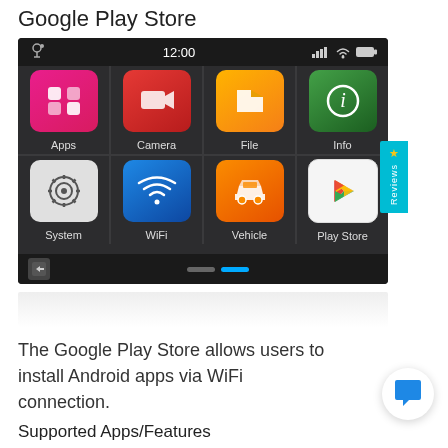Google Play Store
[Figure (screenshot): Android car head unit screen showing app grid with Apps, Camera, File, Info, System, WiFi, Vehicle, and Play Store icons. Status bar shows 12:00 time. A cyan Reviews tab appears on the right edge.]
The Google Play Store allows users to install Android apps via WiFi connection.
Supported Apps/Features